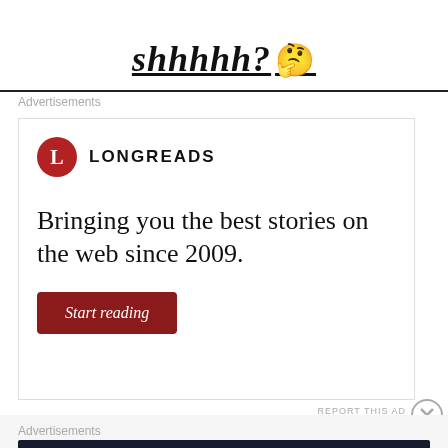shhhhh? 🤔
Advertisements
[Figure (other): Longreads advertisement banner: logo with red circle L, tagline 'Bringing you the best stories on the web since 2009.', red 'Start reading' button]
REPORT THIS AD
Advertisements
[Figure (other): Dark banner ad: Teach freely. Make money selling online courses.]